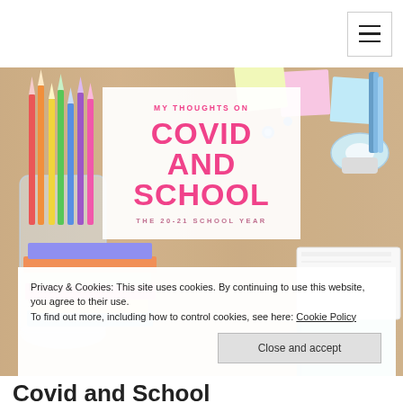[Figure (photo): School supplies background: colored pencils, books, sticky notes, tape dispenser, push pins on a wooden desk]
MY THOUGHTS ON
COVID AND SCHOOL
THE 20-21 SCHOOL YEAR
Privacy & Cookies: This site uses cookies. By continuing to use this website, you agree to their use.
To find out more, including how to control cookies, see here: Cookie Policy
Close and accept
Covid and School